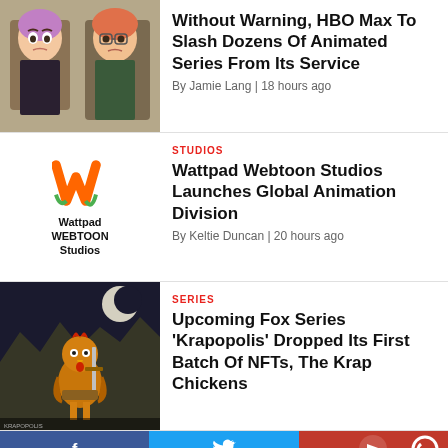[Figure (photo): Thumbnail of animated characters from an HBO Max animated series — two cartoon women looking worried]
Without Warning, HBO Max To Slash Dozens Of Animated Series From Its Service
By Jamie Lang | 18 hours ago
[Figure (logo): Wattpad Webtoon Studios logo — orange W mark with text]
STUDIOS
Wattpad Webtoon Studios Launches Global Animation Division
By Keltie Duncan | 20 hours ago
[Figure (photo): Thumbnail of animated rooster character from Krapopolis — cartoon chicken warrior with sword in a dark fantasy setting]
SERIES
Upcoming Fox Series 'Krapopolis' Dropped Its First Batch Of NFTs, The Krap Chickens
[Figure (infographic): Social sharing bar with Facebook, Twitter, and YouTube/other icons in blue and red]
[Figure (infographic): Ad banner for Arcane: League of Legends — Emmy Award Nominee for Outstanding Animated Program, The Best Animated Series of the Year, ARCANE]